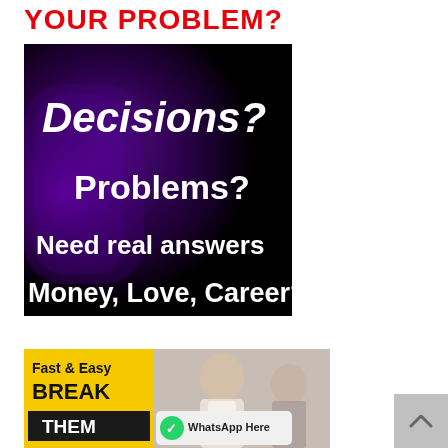YOUR PROBLEM?
[Figure (illustration): Dark purple/black background image with white text reading: Decisions? Problems? Need real answers Money, Love, Career?]
[Figure (illustration): Two-part image: left side yellow background with bold text 'Fast & Easy BREAK THEM' in black and white; right side photo of man looking stressed with woman in background, with WhatsApp Here button overlay]